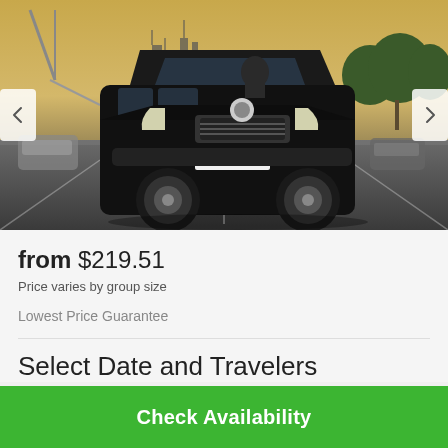[Figure (photo): Black Mercedes-Benz V-Class van driving on a road with a city skyline at dusk in the background. Navigation arrows on left and right sides of the image.]
from $219.51
Price varies by group size
Lowest Price Guarantee
Select Date and Travelers
Check Availability